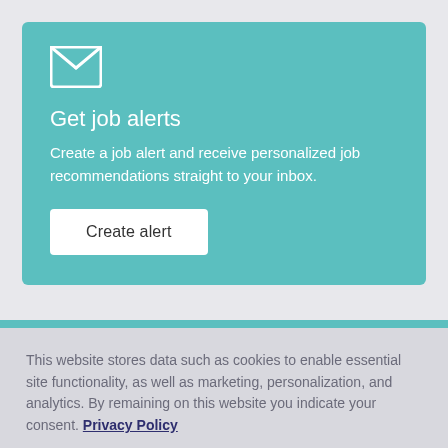[Figure (illustration): White envelope/mail icon on teal background]
Get job alerts
Create a job alert and receive personalized job recommendations straight to your inbox.
Create alert
This website stores data such as cookies to enable essential site functionality, as well as marketing, personalization, and analytics. By remaining on this website you indicate your consent. Privacy Policy